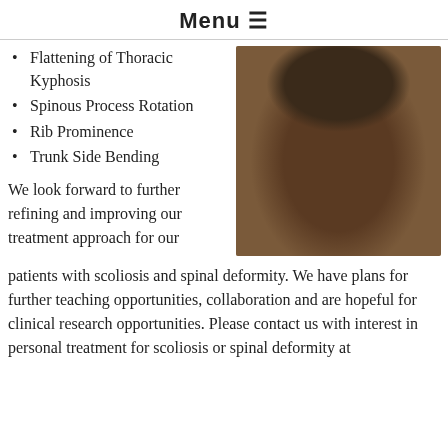Menu ☰
Flattening of Thoracic Kyphosis
Spinous Process Rotation
Rib Prominence
Trunk Side Bending
[Figure (photo): Person bending forward at waist, viewed from behind, demonstrating spinal/back examination posture on a carpeted floor near a wall.]
We look forward to further refining and improving our treatment approach for our patients with scoliosis and spinal deformity. We have plans for further teaching opportunities, collaboration and are hopeful for clinical research opportunities. Please contact us with interest in personal treatment for scoliosis or spinal deformity at